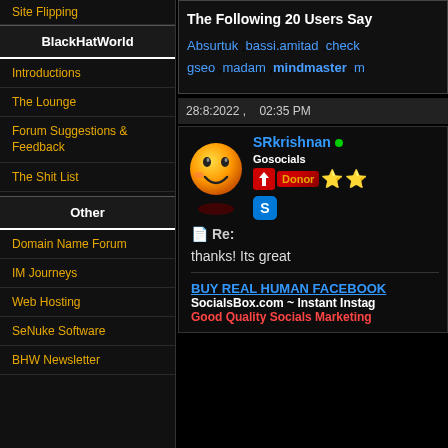Site Flipping
BlackHatWorld
Introductions
The Lounge
Forum Suggestions & Feedback
The Shit List
Other
Domain Name Forum
IM Journeys
Web Hosting
SeNuke Software
BHW Newsletter
The Following 20 Users Say
Absurtuk ,bassi.amitad ,check... gseo ,madam ,mindmaster ,n...
28:8:2022 ,   02:35 PM
SRkrishnan • Gosocials
Re:
thanks! Its great
BUY REAL HUMAN FACEBOOK
SocialsBox.com ~ Instant Instag
Good Quality Socials Marketing